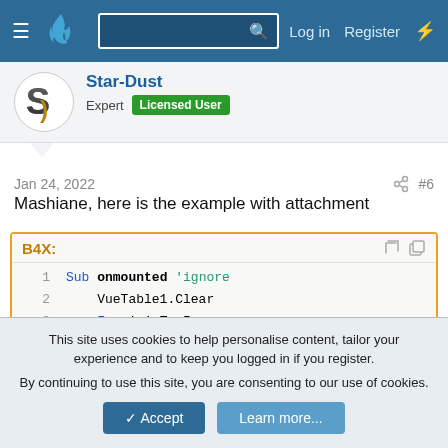Navigation bar with logo, search, Log in, Register
Star-Dust
Expert  Licensed User
Jan 24, 2022  #6
Mashiane, here is the example with attachment
[Figure (screenshot): B4X code block showing Sub onmounted with VueTable1.Clear, For i=1 To 5, Dim Row As Map = CreateMap("name":"Name_"), VueTable1.AddItem(Row), Next]
This site uses cookies to help personalise content, tailor your experience and to keep you logged in if you register.
By continuing to use this site, you are consenting to our use of cookies.
Accept  Learn more...